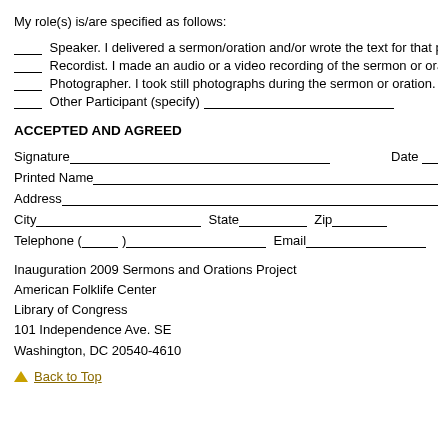My role(s) is/are specified as follows:
___ Speaker. I delivered a sermon/oration and/or wrote the text for that pre…
___ Recordist. I made an audio or a video recording of the sermon or oratio…
___ Photographer. I took still photographs during the sermon or oration.
___ Other Participant (specify) ___________
ACCEPTED AND AGREED
Signature__________________________ Date ___
Printed Name________________________________
Address_____________________________________
City___________________ State_________ Zip______
Telephone (______)_____________________ Email________________
Inauguration 2009 Sermons and Orations Project
American Folklife Center
Library of Congress
101 Independence Ave. SE
Washington, DC 20540-4610
Back to Top